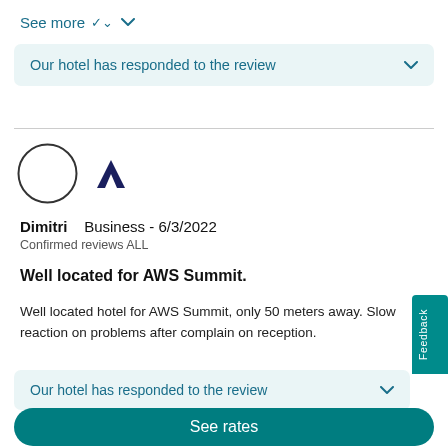See more ˅
Our hotel has responded to the review
[Figure (illustration): Circular avatar placeholder with Marriott logo (A shape) beside it]
Dimitri   Business - 6/3/2022
Confirmed reviews ALL
Well located for AWS Summit.
Well located hotel for AWS Summit, only 50 meters away. Slow reaction on problems after complain on reception.
Our hotel has responded to the review
See rates
In partnership with  Tripadvisor